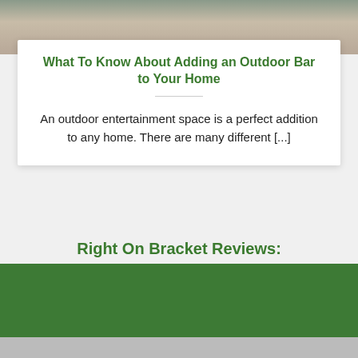[Figure (photo): Top portion of photo showing bar stools with black metal legs on a patio/outdoor setting]
What To Know About Adding an Outdoor Bar to Your Home
An outdoor entertainment space is a perfect addition to any home. There are many different [...]
Right On Bracket Reviews:
Great service and product. Zero issues, will look to you guys first in the future
Michael A / Rocky River, Ohio